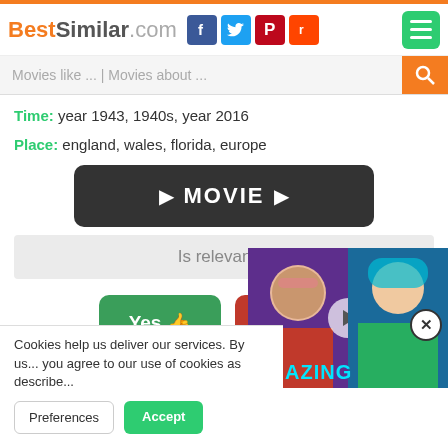BestSimilar.com
Movies like ... | Movies about ...
Time: year 1943, 1940s, year 2016
Place: england, wales, florida, europe
[Figure (other): Dark rounded rectangle button with play arrows and text MOVIE]
Is relevant ?
[Figure (other): Yes thumbs-up button (green) and No thumbs-down button (red)]
[Figure (photo): Video thumbnail overlay showing two people, AMAZING text in cyan, play button]
Cookies help us deliver our services. By us... you agree to our use of cookies as describe...
Preferences | Accept